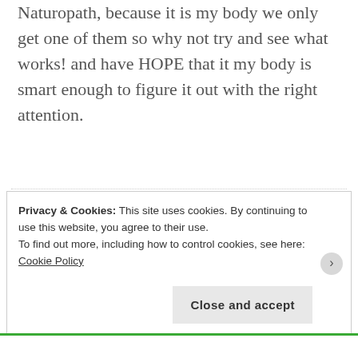Naturopath, because it is my body we only get one of them so why not try and see what works! and have HOPE that it my body is smart enough to figure it out with the right attention.
Gordana says:
JANUARY 11, 2015 AT 11:38 PM
Absolutely agree with you very smart
Privacy & Cookies: This site uses cookies. By continuing to use this website, you agree to their use.
To find out more, including how to control cookies, see here: Cookie Policy
Close and accept